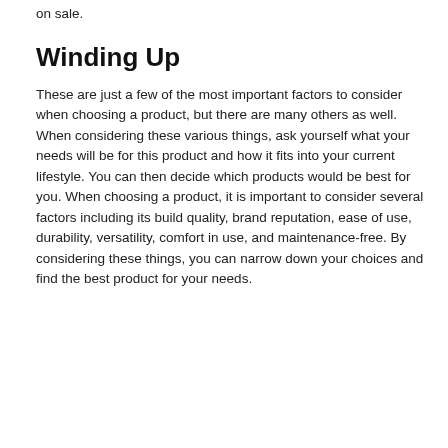on sale.
Winding Up
These are just a few of the most important factors to consider when choosing a product, but there are many others as well. When considering these various things, ask yourself what your needs will be for this product and how it fits into your current lifestyle. You can then decide which products would be best for you. When choosing a product, it is important to consider several factors including its build quality, brand reputation, ease of use, durability, versatility, comfort in use, and maintenance-free. By considering these things, you can narrow down your choices and find the best product for your needs.